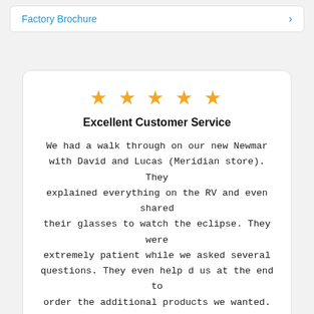Factory Brochure
Excellent Customer Service
We had a walk through on our new Newmar with David and Lucas (Meridian store). They explained everything on the RV and even shared their glasses to watch the eclipse. They were extremely patient while we asked several questions. They even help d us at the end to order the additional products we wanted.
Bonita